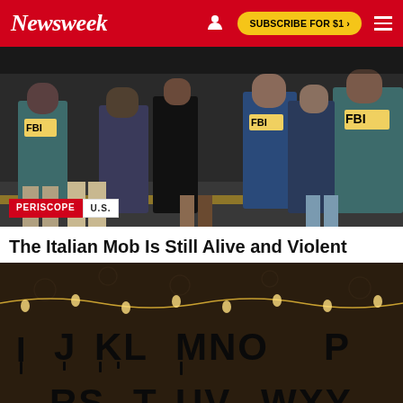Newsweek | SUBSCRIBE FOR $1 >
[Figure (photo): FBI agents in jackets with 'FBI' written on them arresting or surrounding suspects on a street, dark outdoor scene]
The Italian Mob Is Still Alive and Violent
[Figure (photo): Dark room with letters I J K L M N O P and R S T U V W X Y painted on a wall in dripping black paint with string lights, from TV show Stranger Things]